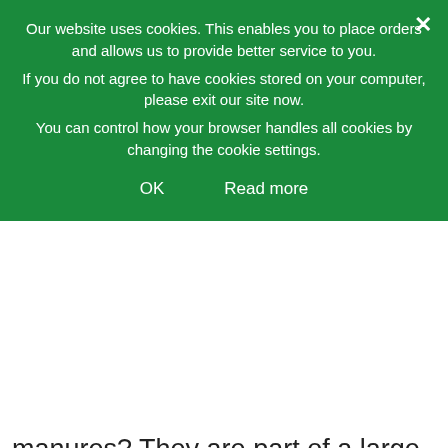Our website uses cookies. This enables you to place orders and allows us to provide better service to you. If you do not agree to have cookies stored on your computer, please exit our site now. You can control how your browser handles all cookies by changing the cookie settings.
OK   Read more
manures? They are part of a large family of manures and can be used to cover the soil in winter or planted in fallow croplands during other seasons. Green manures have numerous and interesting benefits for the vegetable garden all across its life cycle. Let's learn everything about them! THE